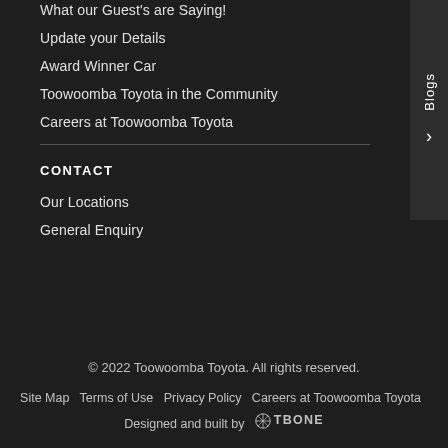What our Guest's are Saying!
Update your Details
Award Winner Car
Toowoomba Toyota in the Community
Careers at Toowoomba Toyota
CONTACT
Our Locations
General Enquiry
Blogs
© 2022 Toowoomba Toyota. All rights reserved.
Site Map  Terms of Use  Privacy Policy  Careers at Toowoomba Toyota  Designed and built by TBONE